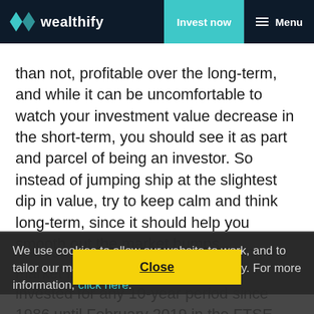wealthify | Invest now | Menu
than not, profitable over the long-term, and while it can be uncomfortable to watch your investment value decrease in the short-term, you should see it as part and parcel of being an investor. So instead of jumping ship at the slightest dip in value, try to keep calm and think long-term, since it should help you smooth out the market bumps.
The research also shows that timing the market is a bad idea. people who invested for any 10-year period since 1986 until February 2019 in the FTSE 100 index have had an 87% chance of making a significant profit.
We use cookies to allow our website to work, and to tailor our marketing and social media activity. For more information, click here. Close